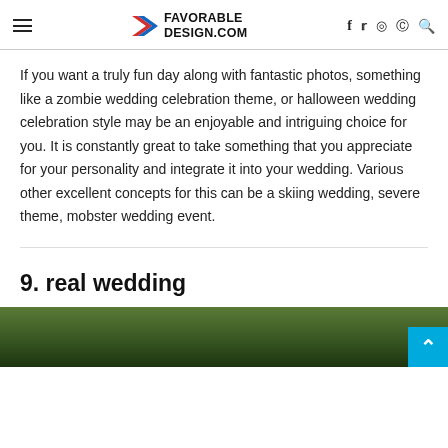FAVORABLE DESIGN.COM
If you want a truly fun day along with fantastic photos, something like a zombie wedding celebration theme, or halloween wedding celebration style may be an enjoyable and intriguing choice for you. It is constantly great to take something that you appreciate for your personality and integrate it into your wedding. Various other excellent concepts for this can be a skiing wedding, severe theme, mobster wedding event.
9. real wedding
[Figure (photo): Photo of a real wedding scene with green foliage/moss background]